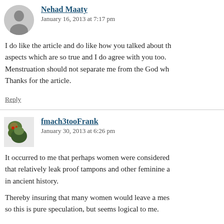Nehad Maaty says:
January 16, 2013 at 7:17 pm
I do like the article and do like how you talked about the aspects which are so true and I do agree with you too. Menstruation should not separate me from the God who Thanks for the article.
Reply
fmach3tooFrank says:
January 30, 2013 at 6:26 pm
It occurred to me that perhaps women were considered that relatively leak proof tampons and other feminine a in ancient history.
Thereby insuring that many women would leave a mes so this is pure speculation, but seems logical to me.